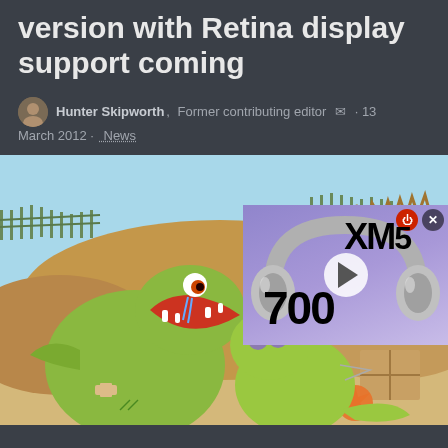version with Retina display support coming
Hunter Skipworth, Former contributing editor · 13 March 2012 · News
[Figure (screenshot): Cartoon game screenshot showing animated crocodile characters on a beach/desert scene, with an overlaid advertisement showing Sony headphones and text 'XM5 700']